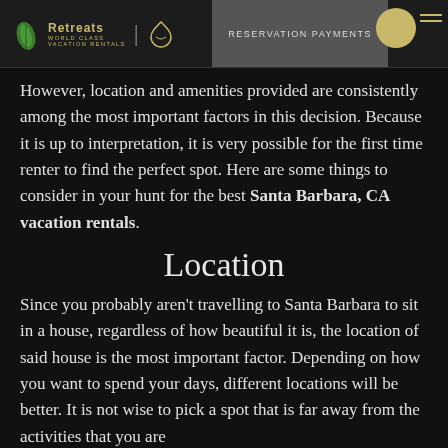Retreats World Class Vacation Rentals | RESERVATION PAYMENTS
However, location and amenities provided are consistently among the most important factors in this decision. Because it is up to interpretation, it is very possible for the first time renter to find the perfect spot. Here are some things to consider in your hunt for the best Santa Barbara, CA vacation rentals.
Location
Since you probably aren't travelling to Santa Barbara to sit in a house, regardless of how beautiful it is, the location of said house is the most important factor. Depending on how you want to spend your days, different locations will be better. It is not wise to pick a spot that is far away from the activities that you are interested in, however often there are good reasons...